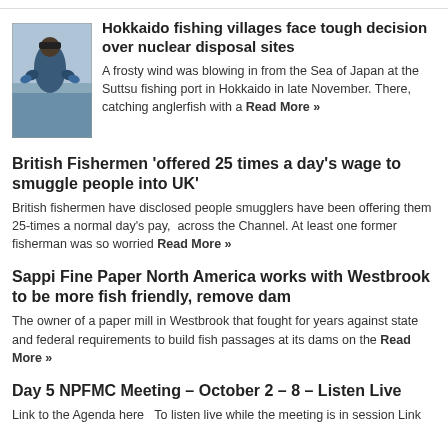[Figure (photo): Photo of a fisherman at a port, wearing a cap, working on a boat in cold weather]
Hokkaido fishing villages face tough decision over nuclear disposal sites
A frosty wind was blowing in from the Sea of Japan at the Suttsu fishing port in Hokkaido in late November. There, catching anglerfish with a Read More »
British Fishermen 'offered 25 times a day's wage to smuggle people into UK'
British fishermen have disclosed people smugglers have been offering them 25-times a normal day's pay,  across the Channel. At least one former fisherman was so worried Read More »
Sappi Fine Paper North America works with Westbrook to be more fish friendly, remove dam
The owner of a paper mill in Westbrook that fought for years against state and federal requirements to build fish passages at its dams on the Read More »
Day 5 NPFMC Meeting – October 2 – 8 – Listen Live
Link to the Agenda here   To listen live while the meeting is in session Link